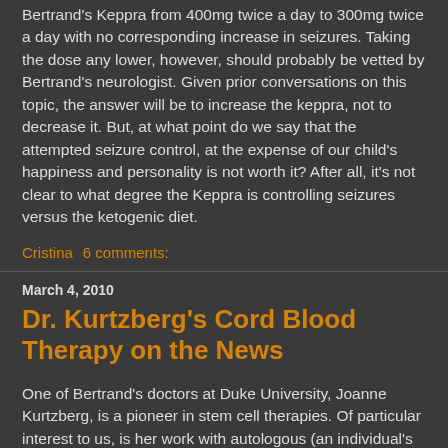Bertrand's Keppra from 400mg twice a day to 300mg twice a day with no corresponding increase in seizures. Taking the dose any lower, however, should probably be vetted by Bertrand's neurologist. Given prior conversations on this topic, the answer will be to increase the keppra, not to decrease it. But, at what point do we say that the attempted seizure control, at the expense of our child's happiness and personality is not worth it? After all, it's not clear to what degree the Keppra is controlling seizures versus the ketogenic diet.
Cristina    6 comments:
March 4, 2010
Dr. Kurtzberg's Cord Blood Therapy on the News
One of Bertrand's doctors at Duke University, Joanne Kurtzberg, is a pioneer in stem cell therapies. Of particular interest to us, is her work with autologous (an individual's own) cord blood stem cell which formed an existing the blood